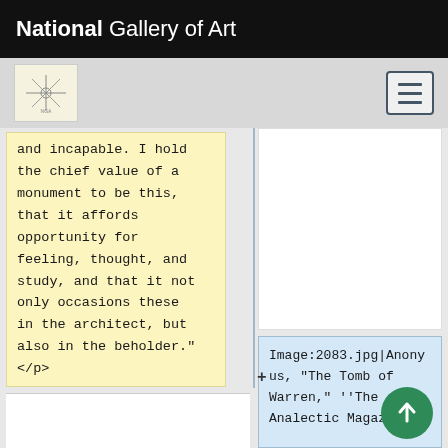National Gallery of Art
and incapable. I hold the chief value of a monument to be this, that it affords opportunity for feeling, thought, and study, and that it not only occasions these in the architect, but also in the beholder."
</p>
Image:2083.jpg|Anonymous, “The Tomb of Warren,” ''The Analectic Magazine''